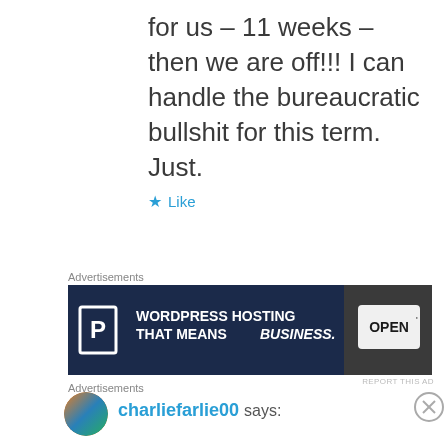for us – 11 weeks – then we are off!!! I can handle the bureaucratic bullshit for this term. Just.
★ Like
Advertisements
[Figure (screenshot): WordPress hosting advertisement banner with dark navy background, P logo, text 'WORDPRESS HOSTING THAT MEANS BUSINESS.' and an OPEN sign photo]
REPORT THIS AD
[Figure (screenshot): User avatar circle with colorful gradient]
charliefarlie00 says:
Advertisements
[Figure (screenshot): ULTA beauty advertisement banner with makeup images, lips, brush, eye, ULTA logo, eyes and SHOP NOW button]